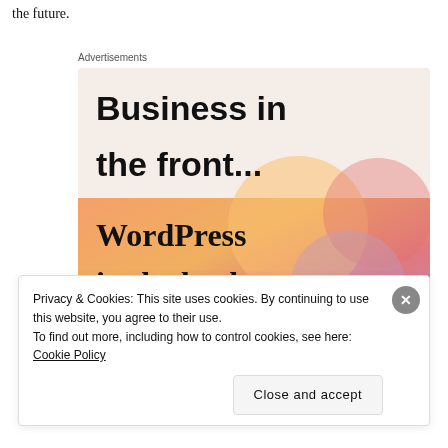the future.
Advertisements
[Figure (illustration): WordPress VIP advertisement. Top section with light pink background reads 'Business in the front...' in bold sans-serif. Bottom section with orange gradient background reads 'WordPress in the back.' in serif font, with WordPress VIP logo and a 'Learn more →' button.]
Privacy & Cookies: This site uses cookies. By continuing to use this website, you agree to their use.
To find out more, including how to control cookies, see here: Cookie Policy
Close and accept